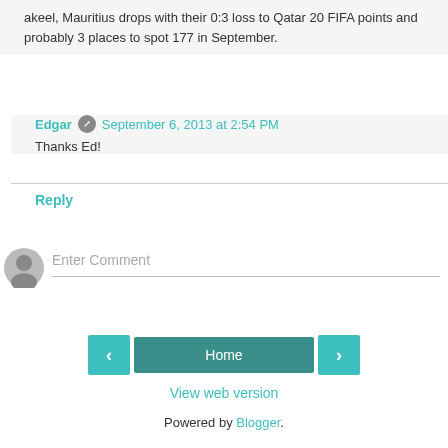akeel, Mauritius drops with their 0:3 loss to Qatar 20 FIFA points and probably 3 places to spot 177 in September.
Edgar  September 6, 2013 at 2:54 PM
Thanks Ed!
Reply
Enter Comment
Home
View web version
Powered by Blogger.